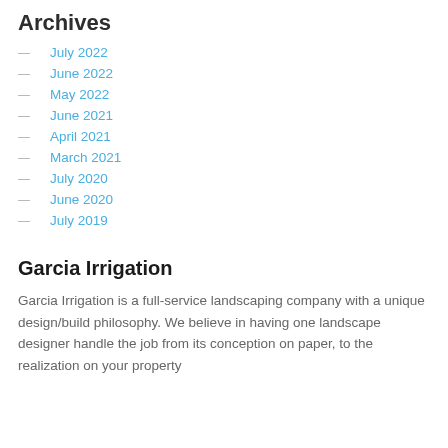Archives
July 2022
June 2022
May 2022
June 2021
April 2021
March 2021
July 2020
June 2020
July 2019
Garcia Irrigation
Garcia Irrigation is a full-service landscaping company with a unique design/build philosophy. We believe in having one landscape designer handle the job from its conception on paper, to the realization on your property